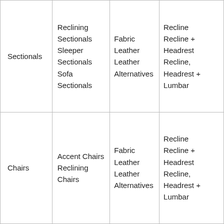| Sectionals | Reclining Sectionals
Sleeper Sectionals
Sofa Sectionals | Fabric
Leather
Leather Alternatives | Recline
Recline + Headrest
Recline, Headrest + Lumbar |
| Chairs | Accent Chairs
Reclining Chairs | Fabric
Leather
Leather Alternatives | Recline
Recline + Headrest
Recline, Headrest + Lumbar |